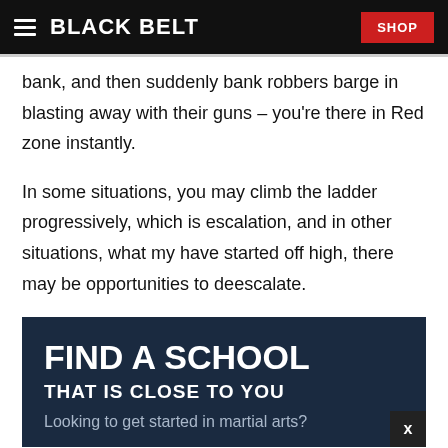BLACK BELT | SHOP
bank, and then suddenly bank robbers barge in blasting away with their guns – you're there in Red zone instantly.
In some situations, you may climb the ladder progressively, which is escalation, and in other situations, what my have started off high, there may be opportunities to deescalate.
FIND A SCHOOL
THAT IS CLOSE TO YOU
Looking to get started in martial arts?